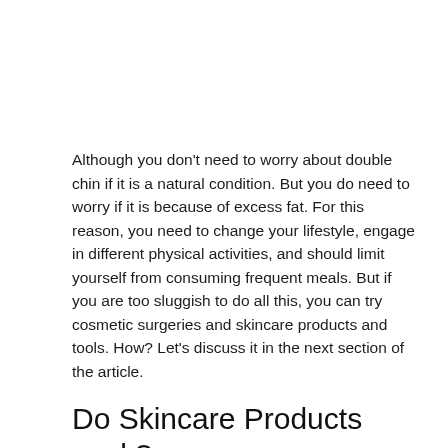Although you don't need to worry about double chin if it is a natural condition. But you do need to worry if it is because of excess fat. For this reason, you need to change your lifestyle, engage in different physical activities, and should limit yourself from consuming frequent meals. But if you are too sluggish to do all this, you can try cosmetic surgeries and skincare products and tools. How? Let's discuss it in the next section of the article.
Do Skincare Products work?
Many skincare products are usually used to